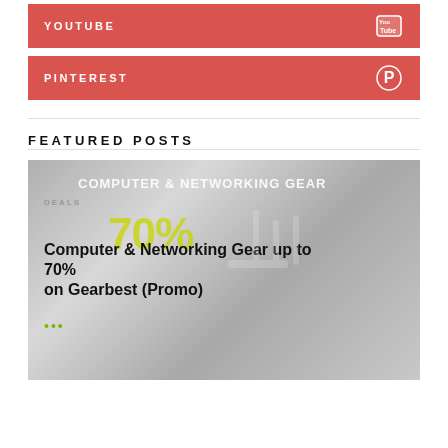YOUTUBE
PINTEREST
FEATURED POSTS
[Figure (screenshot): Featured post image showing computer and networking gear promotion with text 'Computer & Networking Gear up to 70% on Gearbest (Promo)']
DEALS
Computer & Networking Gear up to 70% on Gearbest (Promo)